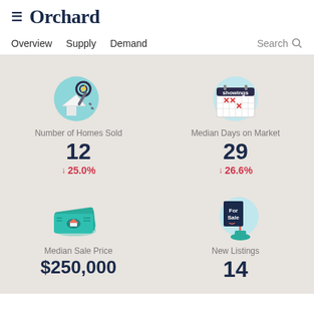Orchard
Overview  Supply  Demand  Search
[Figure (infographic): Illustration of house keys on a keyring with a small house icon, on a teal circle background]
Number of Homes Sold
12
↓ 25.0%
[Figure (infographic): Illustration of a calendar with 'showings' header and X marks, on a light blue circle background]
Median Days on Market
29
↓ 26.6%
[Figure (infographic): Illustration of cash bills with a house silhouette, on a teal circle background]
Median Sale Price
$250,000
[Figure (infographic): Illustration of a For Sale sign on a post with a teal base, on a light blue circle background]
New Listings
14